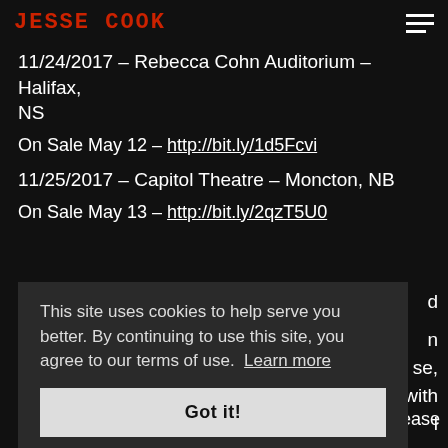JESSE COOK
11/24/2017 – Rebecca Cohn Auditorium – Halifax, NS
On Sale May 12 – http://bit.ly/1d5Fcvi
11/25/2017 – Capitol Theatre – Moncton, NB
On Sale May 13 – http://bit.ly/2qzT5U0
This site uses cookies to help serve you better. By continuing to use this site, you agree to our terms of use. Learn more
Got it!
write to info@jessecook.wpengine.com.